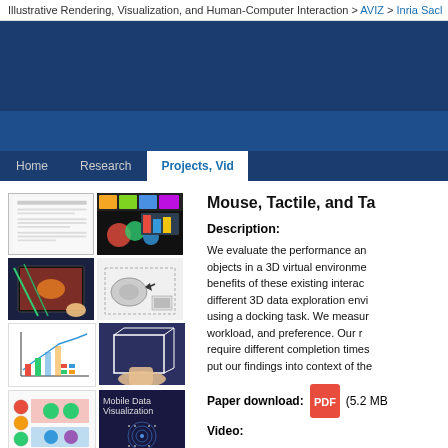Illustrative Rendering, Visualization, and Human-Computer Interaction > AVIZ > Inria Sacl…
[Figure (screenshot): Dark blue banner image for AVIZ research group website]
[Figure (screenshot): Navigation bar with Home, Research, Projects, Vid… tabs]
[Figure (screenshot): Thumbnail images of research: paper screenshot, colored visualization, hands with tablet, 3D docking diagram, chart with lines, augmented reality hand image, mobile data visualization screenshot, dot pattern image]
Mouse, Tactile, and Ta…
Description:
We evaluate the performance and … objects in a 3D virtual environment … benefits of these existing interac… different 3D data exploration envi… using a docking task. We measur… workload, and preference. Our r… require different completion times… put our findings into context of the…
Paper download:    (5.2 MB…
Video: